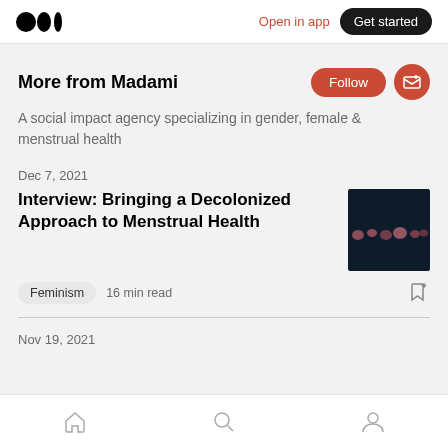Open in app   Get started
More from Madami
A social impact agency specializing in gender, female & menstrual health
Dec 7, 2021
Interview: Bringing a Decolonized Approach to Menstrual Health
[Figure (photo): Dark background thumbnail with small pink/red circular dots arranged in a pattern]
Feminism · 16 min read
Nov 19, 2021